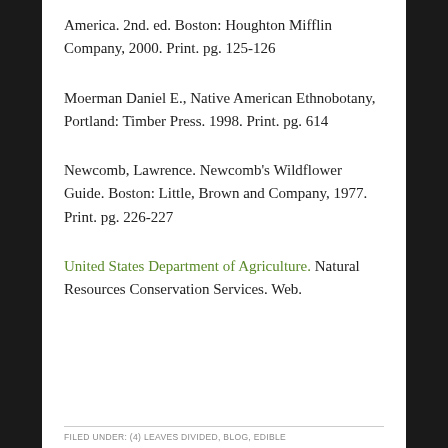America. 2nd. ed. Boston: Houghton Mifflin Company, 2000. Print. pg. 125-126
Moerman Daniel E., Native American Ethnobotany, Portland: Timber Press. 1998. Print. pg. 614
Newcomb, Lawrence. Newcomb’s Wildflower Guide. Boston: Little, Brown and Company, 1977. Print. pg. 226-227
United States Department of Agriculture. Natural Resources Conservation Services. Web.
FILED UNDER: (4) LEAVES DIVIDED, BLOG, EDIBLE